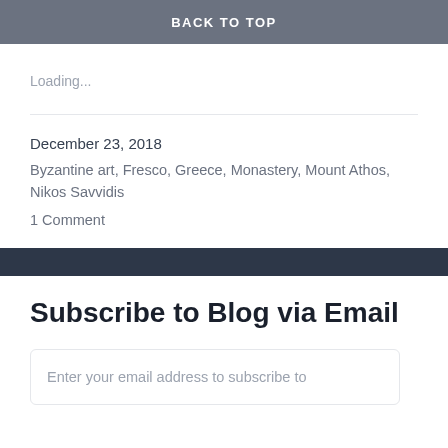BACK TO TOP
Loading...
December 23, 2018
Byzantine art, Fresco, Greece, Monastery, Mount Athos, Nikos Savvidis
1 Comment
Subscribe to Blog via Email
Enter your email address to subscribe to